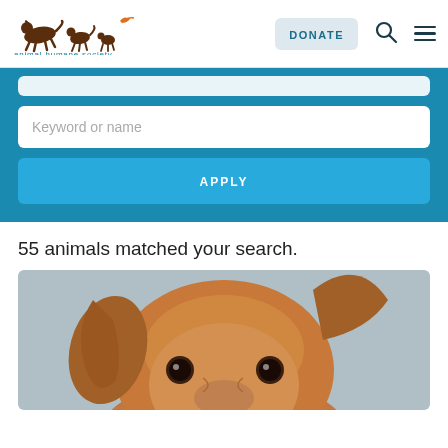[Figure (logo): Animal Humane Society logo with running animals silhouettes and text 'animal humane society']
DONATE
[Figure (screenshot): Search interface with keyword or name input field and APPLY button on teal background]
55 animals matched your search.
[Figure (photo): Close-up photo of a brown/tan dog's face with floppy ears and big brown eyes]